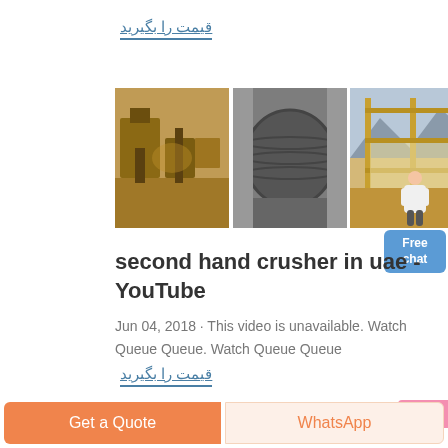قیمت را بگیرید
[Figure (photo): Three industrial machinery/crusher images side by side: left shows construction equipment, center shows a large cylindrical drum/crusher, right shows scaffolding or screening equipment.]
second hand crusher in uae - YouTube
Jun 04, 2018 · This video is unavailable. Watch Queue Queue. Watch Queue Queue
قیمت را بگیرید
Get a Quote
WhatsApp